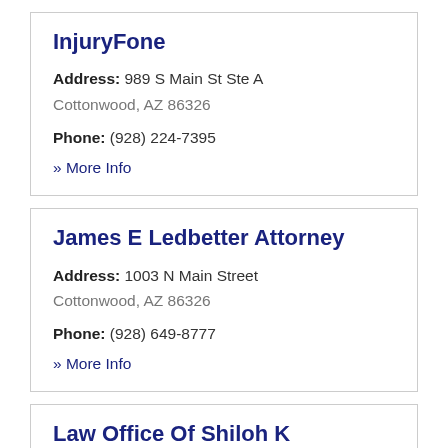InjuryFone
Address: 989 S Main St Ste A
Cottonwood, AZ 86326
Phone: (928) 224-7395
» More Info
James E Ledbetter Attorney
Address: 1003 N Main Street
Cottonwood, AZ 86326
Phone: (928) 649-8777
» More Info
Law Office Of Shiloh K